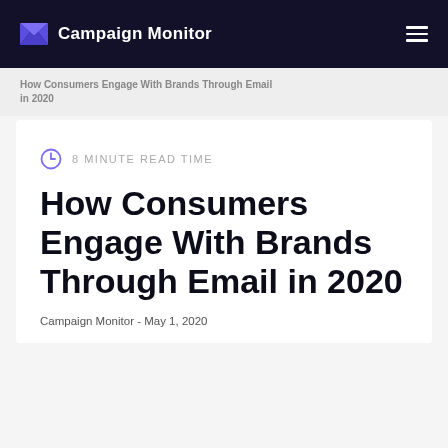Campaign Monitor
How Consumers Engage With Brands Through Email in 2020
8 minute read time
How Consumers Engage With Brands Through Email in 2020
Campaign Monitor - May 1, 2020